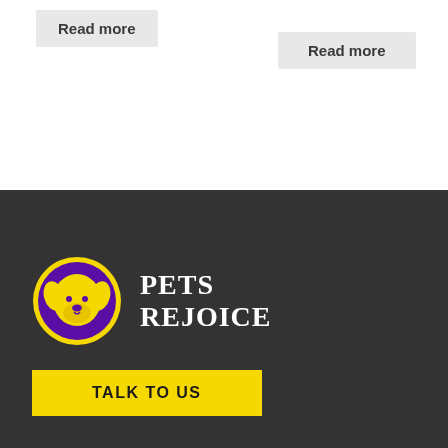Read more
Read more
[Figure (logo): Pets Rejoice logo: yellow circle with purple background showing a golden retriever dog face silhouette in yellow]
PETS REJOICE
TALK TO US